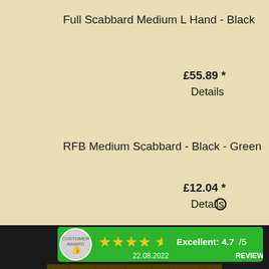Full Scabbard Medium L Hand - Black
£55.89 *
Details
[Figure (other): Small circle/radio button UI element]
RFB Medium Scabbard - Black - Green
£12.04 *
Details
[Figure (infographic): Customer award review banner showing 4.7/5 stars rating, dated 22.08.2022 with Excellent rating and Reviews link]